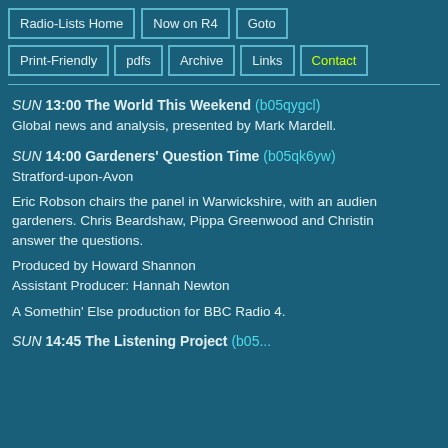Radio-Lists Home | Now on R4 | Goto | Print-Friendly | pdfs | Archive | Links | Contact
SUN 13:00 The World This Weekend (b05qygcl) — Global news and analysis, presented by Mark Mardell.
SUN 14:00 Gardeners' Question Time (b05qk6yw) — Stratford-upon-Avon. Eric Robson chairs the panel in Warwickshire, with an audience of gardeners. Chris Beardshaw, Pippa Greenwood and Christina answer the questions. Produced by Howard Shannon. Assistant Producer: Hannah Newton. A Somethin' Else production for BBC Radio 4.
SUN 14:45 The Listening Project (b05...)